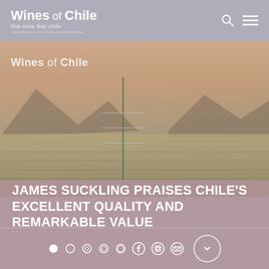Wines of Chile
[Figure (photo): Landscape photo of Chilean vineyard/wine region with mountains in background, warm golden-pink sunset tones, vine post in center foreground]
Wines of Chile
JAMES SUCKLING PRAISES CHILE'S EXCELLENT QUALITY AND REMARKABLE VALUE
Navigation dots and social media icons (Facebook, Instagram, Email) with scroll-down button